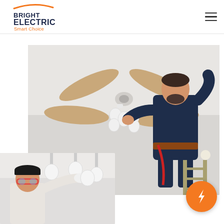[Figure (logo): Bright Electric Smart Choice logo — orange swoosh arc above text 'BRIGHT ELECTRIC' in dark navy, with orange text 'Smart Choice' below]
[Figure (photo): Electrician in dark navy coveralls standing on a ladder installing or adjusting a ceiling fan with wooden blades and white light fixtures; large main image]
[Figure (photo): Electrician wearing a black cap and safety glasses working on pendant light fixtures; smaller overlapping photo in lower-left]
[Figure (illustration): Orange circular badge with white lightning bolt icon in lower-right corner]